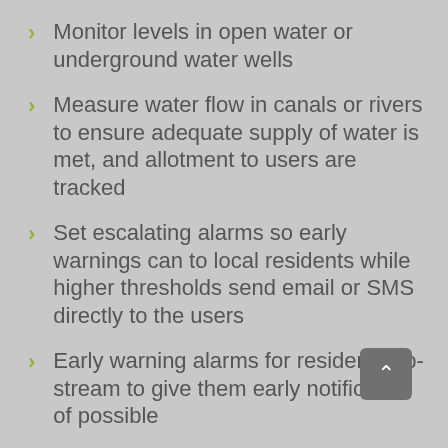Monitor levels in open water or underground water wells
Measure water flow in canals or rivers to ensure adequate supply of water is met, and allotment to users are tracked
Set escalating alarms so early warnings can to local residents while higher thresholds send email or SMS directly to the users
Early warning alarms for residents up-stream to give them early notification of possible